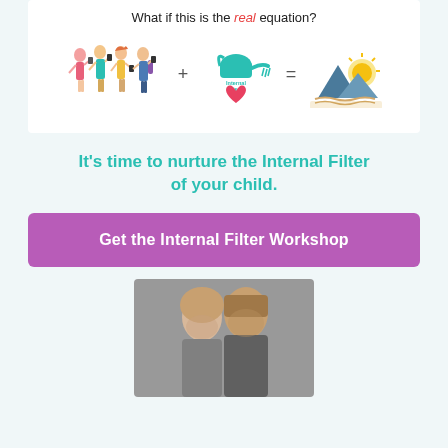What if this is the real equation?
[Figure (infographic): Equation infographic: group of teenagers on phones + watering can labeled Internal Filter™ watering a heart = mountain sunrise landscape]
It's time to nurture the Internal Filter of your child.
Get the Internal Filter Workshop
[Figure (photo): Photo of a man and woman couple, shoulders up, studio portrait]